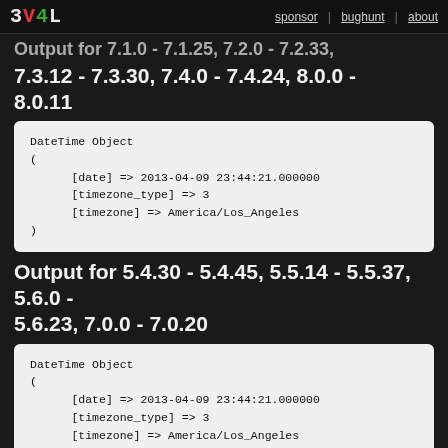3V4L | sponsor | bughunt | about
Output for 7.1.0 - 7.1.25, 7.2.0 - 7.2.33, 7.3.12 - 7.3.30, 7.4.0 - 7.4.24, 8.0.0 - 8.0.11
DateTime Object
(
    [date] => 2013-04-09 23:44:21.000000
    [timezone_type] => 3
    [timezone] => America/Los_Angeles
)
Output for 5.4.30 - 5.4.45, 5.5.14 - 5.5.37, 5.6.0 - 5.6.23, 7.0.0 - 7.0.20
DateTime Object
(
    [date] => 2013-04-09 23:44:21.000000
    [timezone_type] => 3
    [timezone] => America/Los_Angeles
)
Output for 5.3.27 - 5.3.29, 5.4.17 - 5.4.29, 5.5.0 - 5.5.13